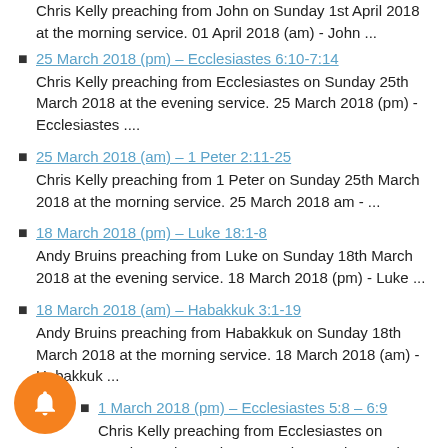Chris Kelly preaching from John on Sunday 1st April 2018 at the morning service. 01 April 2018 (am) - John ...
25 March 2018 (pm) – Ecclesiastes 6:10-7:14
Chris Kelly preaching from Ecclesiastes on Sunday 25th March 2018 at the evening service. 25 March 2018 (pm) - Ecclesiastes ....
25 March 2018 (am) – 1 Peter 2:11-25
Chris Kelly preaching from 1 Peter on Sunday 25th March 2018 at the morning service. 25 March 2018 am - ...
18 March 2018 (pm) – Luke 18:1-8
Andy Bruins preaching from Luke on Sunday 18th March 2018 at the evening service. 18 March 2018 (pm) - Luke ...
18 March 2018 (am) – Habakkuk 3:1-19
Andy Bruins preaching from Habakkuk on Sunday 18th March 2018 at the morning service. 18 March 2018 (am) - Habakkuk ...
1 March 2018 (pm) – Ecclesiastes 5:8 – 6:9
Chris Kelly preaching from Ecclesiastes on Sunday 11th March 2018 at the evening service. 11 March 2018 (pm) -